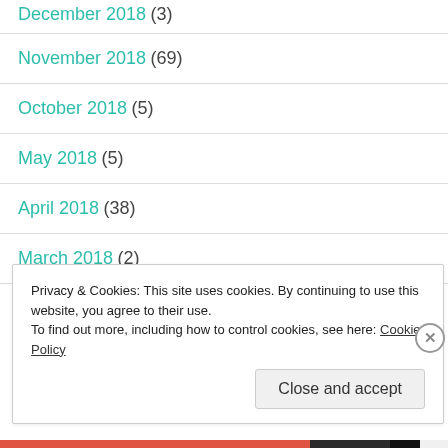December 2018 (3)
November 2018 (69)
October 2018 (5)
May 2018 (5)
April 2018 (38)
March 2018 (2)
Privacy & Cookies: This site uses cookies. By continuing to use this website, you agree to their use.
To find out more, including how to control cookies, see here: Cookie Policy
Close and accept